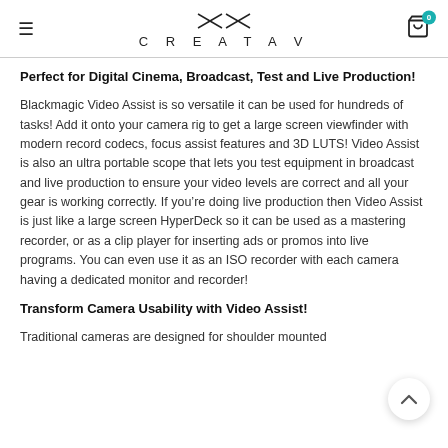CREATAV
Perfect for Digital Cinema, Broadcast, Test and Live Production!
Blackmagic Video Assist is so versatile it can be used for hundreds of tasks! Add it onto your camera rig to get a large screen viewfinder with modern record codecs, focus assist features and 3D LUTS! Video Assist is also an ultra portable scope that lets you test equipment in broadcast and live production to ensure your video levels are correct and all your gear is working correctly. If you're doing live production then Video Assist is just like a large screen HyperDeck so it can be used as a mastering recorder, or as a clip player for inserting ads or promos into live programs. You can even use it as an ISO recorder with each camera having a dedicated monitor and recorder!
Transform Camera Usability with Video Assist!
Traditional cameras are designed for shoulder mounted